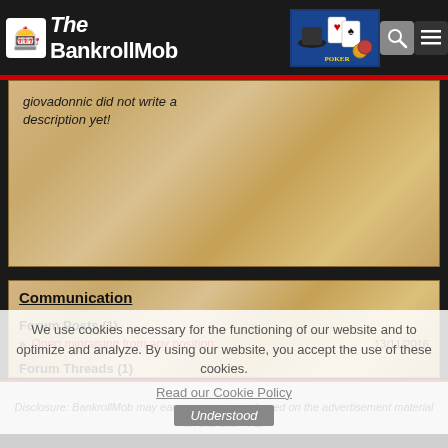The BankrollMob
giovadonnic did not write a description yet!
Communication
Forum Posts (1)
» Open minraising from any position.. 13/11/2016
Forum Threads (1)
» Open minraising from any position.. 13/11/2016
We use cookies necessary for the functioning of our website and to optimize and analyze. By using our website, you accept the use of these cookies.
Read our Cookie Policy
Understood
Disclosure: BankrollMob may earn a commission based on the advertisement material on this site. #AD